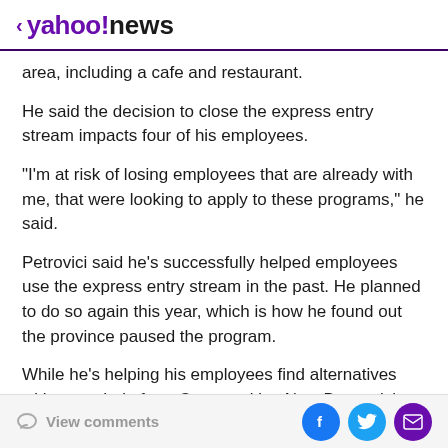< yahoo!news
area, including a cafe and restaurant.
He said the decision to close the express entry stream impacts four of his employees.
"I'm at risk of losing employees that are already with me, that were looking to apply to these programs," he said.
Petrovici said he's successfully helped employees use the express entry stream in the past. He planned to do so again this year, which is how he found out the province paused the program.
While he's helping his employees find alternatives with some help from Opportunities New Brunswick, he said
View comments